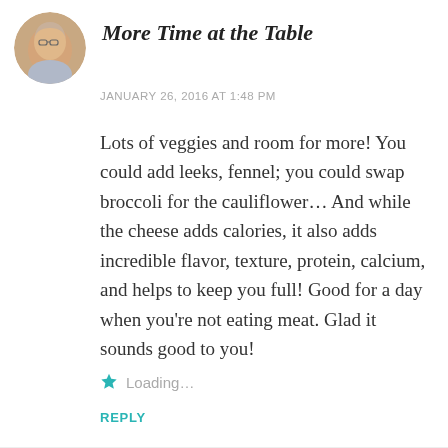[Figure (photo): Circular avatar photo of a woman with glasses and short blonde hair]
More Time at the Table
JANUARY 26, 2016 AT 1:48 PM
Lots of veggies and room for more! You could add leeks, fennel; you could swap broccoli for the cauliflower... And while the cheese adds calories, it also adds incredible flavor, texture, protein, calcium, and helps to keep you full! Good for a day when you’re not eating meat. Glad it sounds good to you!
Loading...
REPLY